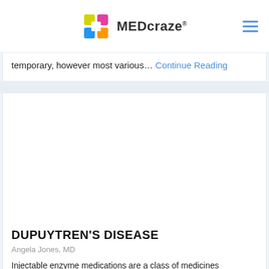MEDcraze
temporary, however most various... Continue Reading
[Figure (photo): Article image area for Dupuytren's Disease article (blank/white image placeholder)]
DUPUYTREN'S DISEASE
Angela Jones, MD
Injectable enzyme medications are a class of medicines